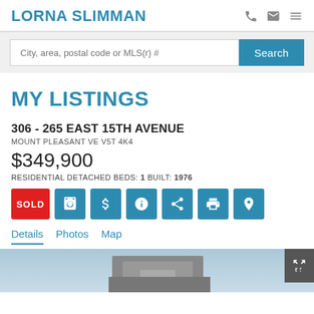LORNA SLIMMAN
City, area, postal code or MLS(r) #
MY LISTINGS
306 - 265 EAST 15TH AVENUE
MOUNT PLEASANT VE V5T 4K4
$349,900
RESIDENTIAL DETACHED BEDS: 1 BUILT: 1976
SOLD
Details  Photos  Map
[Figure (photo): Partial view of a property photo at the bottom of the page]